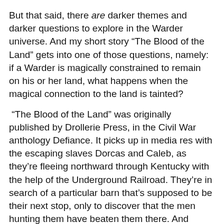But that said, there are darker themes and darker questions to explore in the Warder universe. And my short story “The Blood of the Land” gets into one of those questions, namely: if a Warder is magically constrained to remain on his or her land, what happens when the magical connection to the land is tainted?
“The Blood of the Land” was originally published by Drollerie Press, in the Civil War anthology Defiance. It picks up in media res with the escaping slaves Dorcas and Caleb, as they’re fleeing northward through Kentucky with the help of the Underground Railroad. They’re in search of a particular barn that’s supposed to be their next stop, only to discover that the men hunting them have beaten them there. And they’ve shot the couple who owns that farm, Elias and Jenny Sutherland.
All of which is a pretty dark setup for a story. But as this is the Warder universe, there’s more going on. Elias and Jenny are in fact Warders. And Dorcas herself has power—she’s a powerful healer, a gift that makes the son of her master determined to get her back at any cost.